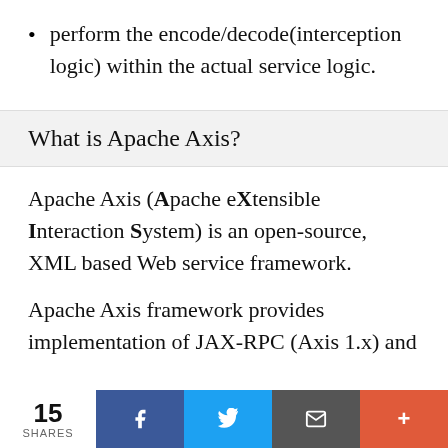perform the encode/decode(interception logic) within the actual service logic.
What is Apache Axis?
Apache Axis (Apache eXtensible Interaction System) is an open-source, XML based Web service framework.
Apache Axis framework provides implementation of JAX-RPC (Axis 1.x) and
15 SHARES | Facebook | Twitter | Email | More